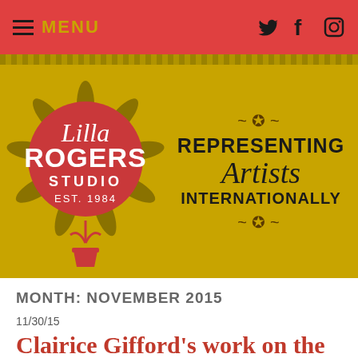≡ MENU
[Figure (logo): Lilla Rogers Studio logo — a sun shape in olive/dark yellow with a red circle center, script text 'Lilla', bold 'ROGERS', 'STUDIO', 'EST. 1984', and a small red plant pot at the bottom. To the right: decorative curls, 'REPRESENTING Artists Internationally' text.]
MONTH: NOVEMBER 2015
11/30/15
Clairice Gifford's work on the cover of Boston Globe Magazine